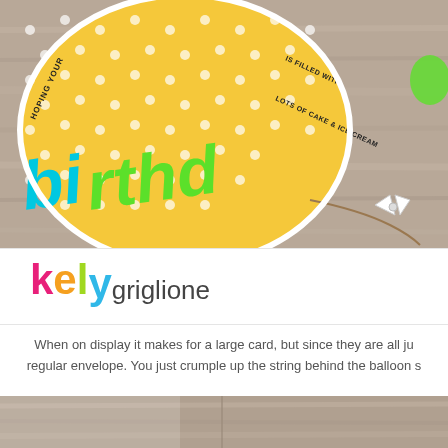[Figure (photo): A yellow polka-dot oval birthday balloon card on a gray wood surface, with colorful 'birthday' letters in blue and green, and decorative string/twine attached]
[Figure (logo): Kelly Griglione logo with colorful letters: k(pink), e(orange), l(green), y(blue) and 'griglione' in dark gray]
When on display it makes for a large card, but since they are all ju regular envelope. You just crumple up the string behind the balloon s
[Figure (photo): Bottom portion of a gray wood surface photo]